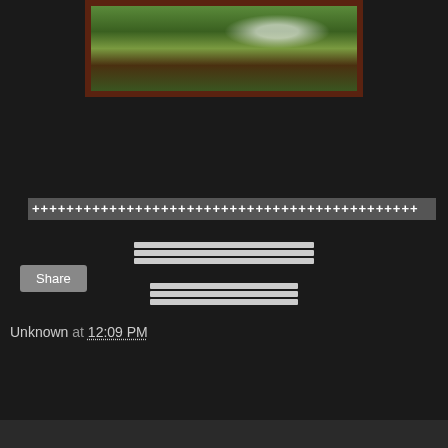[Figure (photo): A framed painting showing a garden or nature scene with a wooden bridge/fence, lush green foliage, and what appears to be a white bird or figure. The frame is dark reddish-brown wood. The painting is mounted on a white/light wall.]
+++++++++++++++++++++++++++++++++++++++++++++
============
=========
Unknown at 12:09 PM
Share